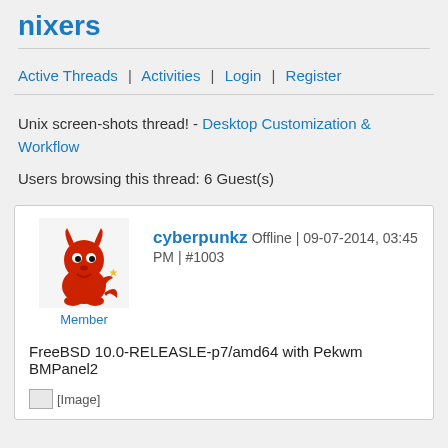nixers
Active Threads | Activities | Login | Register
Unix screen-shots thread! - Desktop Customization & Workflow
Users browsing this thread: 6 Guest(s)
cyberpunkz Offline | 09-07-2014, 03:45 PM | #1003
Member
FreeBSD 10.0-RELEASLE-p7/amd64 with Pekwm BMPanel2